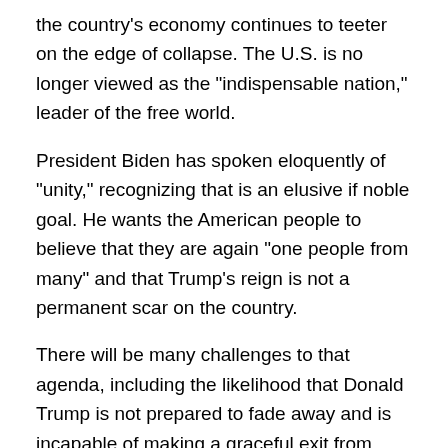the country's economy continues to teeter on the edge of collapse. The U.S. is no longer viewed as the "indispensable nation," leader of the free world.
President Biden has spoken eloquently of "unity," recognizing that is an elusive if noble goal. He wants the American people to believe that they are again "one people from many" and that Trump's reign is not a permanent scar on the country.
There will be many challenges to that agenda, including the likelihood that Donald Trump is not prepared to fade away and is incapable of making a graceful exit from American public life. He has no such dignity. By all indications Trump hopes to be seen as a shadow president, leading a permanent insurrection